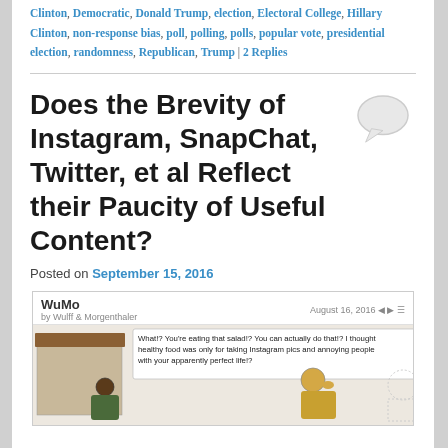Clinton, Democratic, Donald Trump, election, Electoral College, Hillary Clinton, non-response bias, poll, polling, polls, popular vote, presidential election, randomness, Republican, Trump | 2 Replies
Does the Brevity of Instagram, SnapChat, Twitter, et al Reflect their Paucity of Useful Content?
Posted on September 15, 2016
[Figure (illustration): WuMo comic strip by Wulff & Morgenthaler dated August 16, 2016. A character says: 'What!? You're eating that salad!? You can actually do that!? I thought healthy food was only for taking Instagram pics and annoying people with your apparently perfect life!?' Two cartoon characters are shown.]